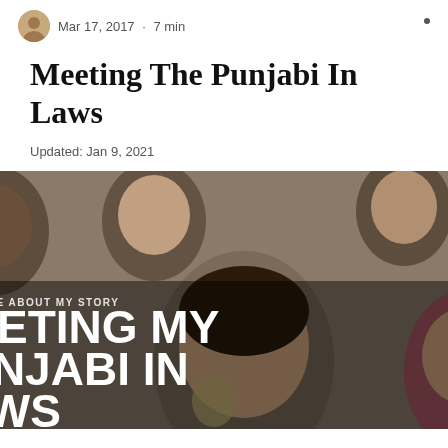Mar 17, 2017 · 7 min
Meeting The Punjabi In Laws
Updated: Jan 9, 2021
[Figure (photo): Group photo of several women taking a selfie, with bold overlay text reading 'READ MORE ABOUT MY STORY' and 'MEETING MY PUNJABI IN LAWS'. Two circular UI buttons visible: a white up-arrow button and a teal chat button.]